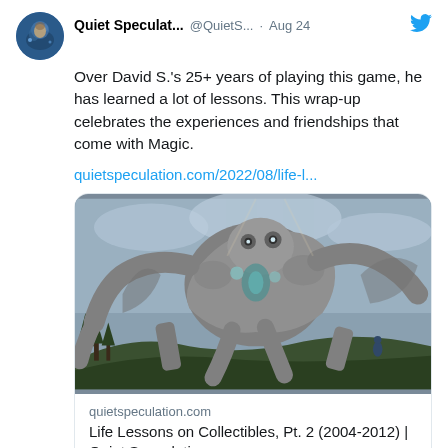[Figure (screenshot): Twitter/X profile avatar: circular image of a person with fantasy/magical blue-toned artwork background]
Quiet Speculat... @QuietS... · Aug 24
Over David S.'s 25+ years of playing this game, he has learned a lot of lessons. This wrap-up celebrates the experiences and friendships that come with Magic.
quietspeculation.com/2022/08/life-l...
[Figure (illustration): Fantasy artwork showing a massive stone golem creature towering over a small figure in a forested landscape]
quietspeculation.com
Life Lessons on Collectibles, Pt. 2 (2004-2012) | Quiet Speculation